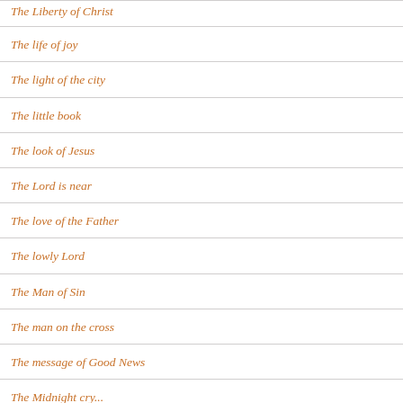The Liberty of Christ
The life of joy
The light of the city
The little book
The look of Jesus
The Lord is near
The love of the Father
The lowly Lord
The Man of Sin
The man on the cross
The message of Good News
The Midnight cry...
The Mind Fractal